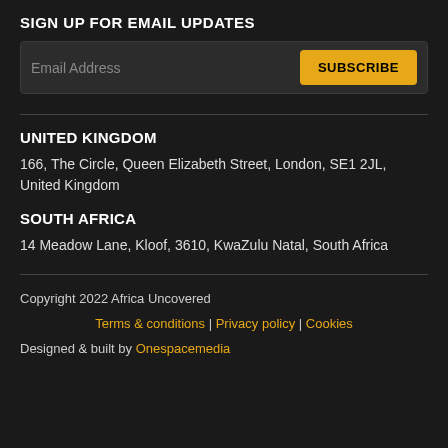SIGN UP FOR EMAIL UPDATES
Email Address | SUBSCRIBE
UNITED KINGDOM
166, The Circle, Queen Elizabeth Street, London, SE1 2JL, United Kingdom
SOUTH AFRICA
14 Meadow Lane, Kloof, 3610, KwaZulu Natal, South Africa
Copyright 2022 Africa Uncovered
Terms & conditions | Privacy policy | Cookies
Designed & built by Onespacemedia